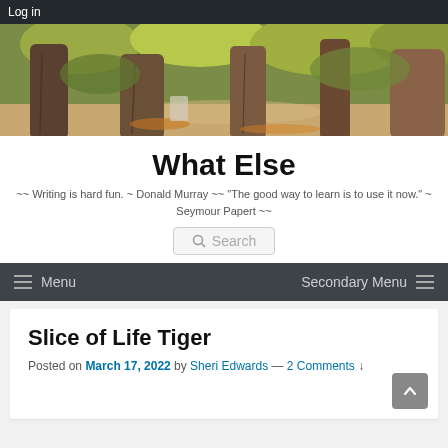Log in
[Figure (photo): Outdoor park scene with large tree trunks and autumn foliage in the background]
What Else
~~ Writing is hard fun. ~ Donald Murray ~~ "The good way to learn is to use it now." ~ Seymour Papert ~~
Search
Menu
Secondary Menu
Slice of Life Tiger
Posted on March 17, 2022 by Sheri Edwards — 2 Comments ↓